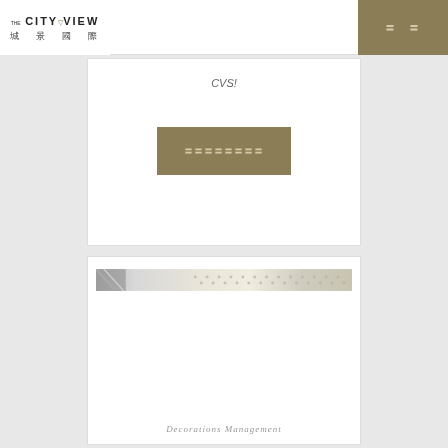THE CITYVIEW 城景國際
CVS!
〓〓〓〓〓〓〓〓
[Figure (illustration): Decorative banner image with diagonal stripe pattern in silver/grey/gold tones]
Decorations Management